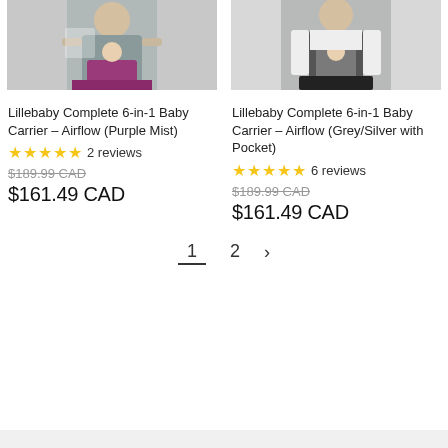[Figure (photo): Two product photos side by side: left shows a woman wearing a grey baby carrier with purple waist belt (Purple Mist); right shows a person wearing a grey/silver baby carrier (Grey/Silver with Pocket).]
Lillebaby Complete 6-in-1 Baby Carrier – Airflow (Purple Mist)
Lillebaby Complete 6-in-1 Baby Carrier – Airflow (Grey/Silver with Pocket)
★★★★★ 2 reviews
★★★★★ 6 reviews
$189.99 CAD (strikethrough)
$189.99 CAD (strikethrough)
$161.49 CAD
$161.49 CAD
Pagination: 1 (active), 2, >